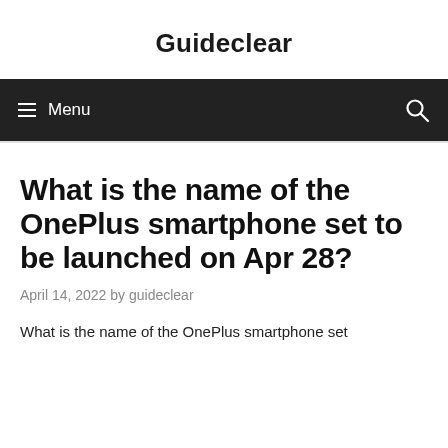Guideclear
≡ Menu
What is the name of the OnePlus smartphone set to be launched on Apr 28?
April 14, 2022 by guideclear
What is the name of the OnePlus smartphone set